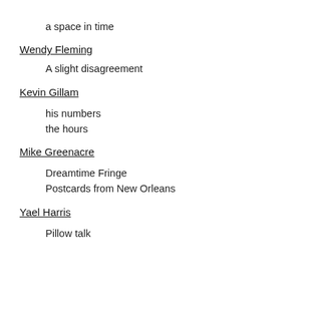a space in time
Wendy Fleming
A slight disagreement
Kevin Gillam
his numbers
the hours
Mike Greenacre
Dreamtime Fringe
Postcards from New Orleans
Yael Harris
Pillow talk